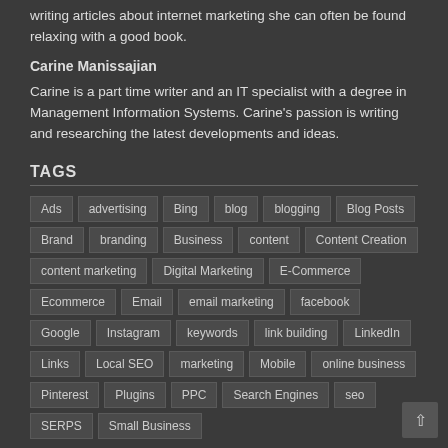writing articles about internet marketing she can often be found relaxing with a good book.
Carine Manissajian
Carine is a part time writer and an IT specialist with a degree in Management Information Systems. Carine's passion is writing and researching the latest developments and ideas.
TAGS
Ads
advertising
Bing
blog
blogging
Blog Posts
Brand
branding
Business
content
Content Creation
content marketing
Digital Marketing
E-Commerce
Ecommerce
Email
email marketing
facebook
Google
Instagram
keywords
link building
LinkedIn
Links
Local SEO
marketing
Mobile
online business
Pinterest
Plugins
PPC
Search Engines
seo
SERPS
Small Business